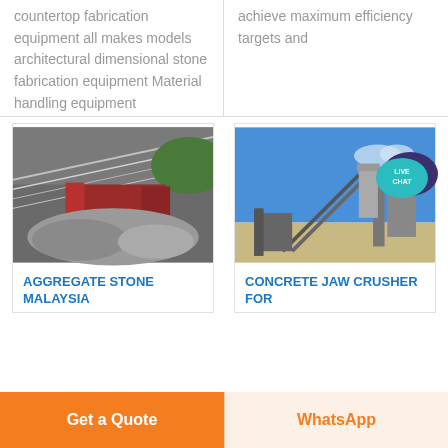countertop fabrication equipment all makes models architectural dimensional stone fabrication equipment Material handling equipment
achieve maximum efficiency targets and
[Figure (photo): Industrial aggregate/stone facility with red machinery and stone piles under a large roof]
[Figure (photo): Outdoor concrete jaw crusher facility with industrial equipment against blue sky]
AGGREGATE STONE MALAYSIA
CONCRETE JAW CRUSHER FOR
[Figure (illustration): Live Chat button with speech bubble icon]
Get a Quote
WhatsApp